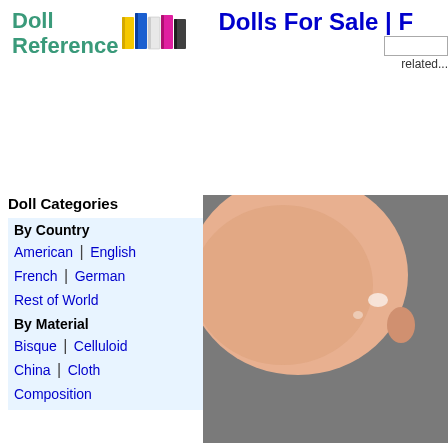[Figure (logo): Doll Reference logo with colorful book icons and teal text]
Dolls For Sale | F...
related...
Doll Categories
By Country
American | English
French | German
Rest of World
By Material
Bisque | Celluloid
China | Cloth
Composition...
[Figure (photo): Close-up photo of a doll head, bald, peach/skin-tone, with a small highlight spot, against a gray fabric background]